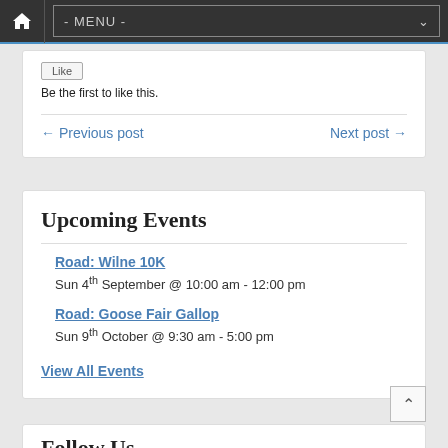- MENU -
Be the first to like this.
← Previous post    Next post →
Upcoming Events
Road: Wilne 10K
Sun 4th September @ 10:00 am - 12:00 pm
Road: Goose Fair Gallop
Sun 9th October @ 9:30 am - 5:00 pm
View All Events
Follow Us